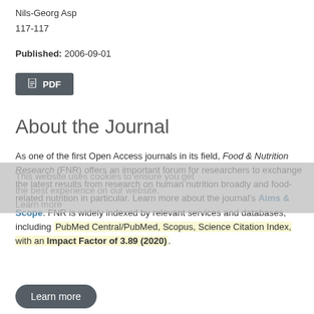Nils-Georg Asp
117-117
Published: 2006-09-01
PDF
About the Journal
As one of the first Open Access journals in its field, Food & Nutrition Research (FNR) offers an important forum for researchers to exchange the latest results from research on human nutrition broadly and food-related nutrition in particular. Learn more about the journal's Aims & Scope. FNR is widely indexed by relevant services and databases, including PubMed Central/PubMed, Scopus, Science Citation Index, with an Impact Factor of 3.89 (2020).
Learn more